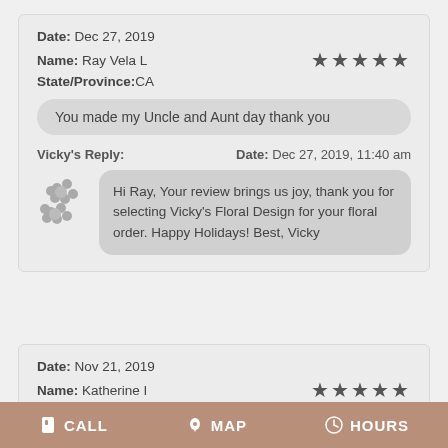Date: Dec 27, 2019
Name: Ray Vela L  ★★★★★
State/Province:CA
You made my Uncle and Aunt day thank you
Vicky's Reply:   Date: Dec 27, 2019, 11:40 am
Hi Ray, Your review brings us joy, thank you for selecting Vicky's Floral Design for your floral order. Happy Holidays! Best, Vicky
Date: Nov 21, 2019
Name: Katherine I  ★★★★★
CALL   MAP   HOURS